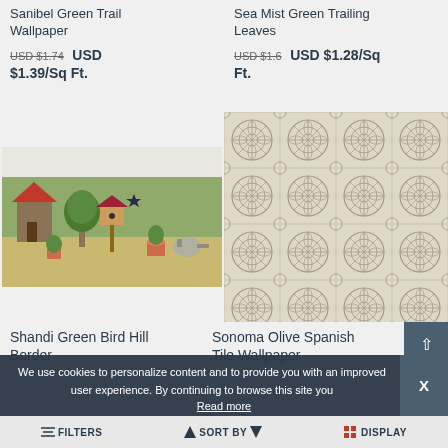Sanibel Green Trail Wallpaper
Sea Mist Green Trailing Leaves
USD $1.74  USD $1.39/Sq Ft.
USD $1.6  USD $1.28/Sq Ft.
[Figure (photo): Birdhouse garden border wallpaper with green plants, terracotta pots, and birdhouses]
[Figure (photo): Sonoma Olive Spanish tile pattern wallpaper with ornate geometric repeating tile design in cream and gray]
Shandi Green Bird Hill Border
Sonoma Olive Spanish Tile Wallpaper
We use cookies to personalize content and to provide you with an improved user experience. By continuing to browse this site you
Read more
FILTERS  SORT BY  DISPLAY